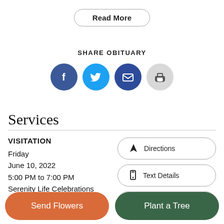Read More
SHARE OBITUARY
[Figure (infographic): Four circular social share icons: Facebook (dark blue, f), Twitter (light blue, bird), Email (dark blue, envelope), Print (gray, printer)]
Services
VISITATION
Friday
June 10, 2022
5:00 PM to 7:00 PM
Serenity Life Celebrations
2025 North 18th Street
Directions
Text Details
Email Detail
Send Flowers
Plant a Tree